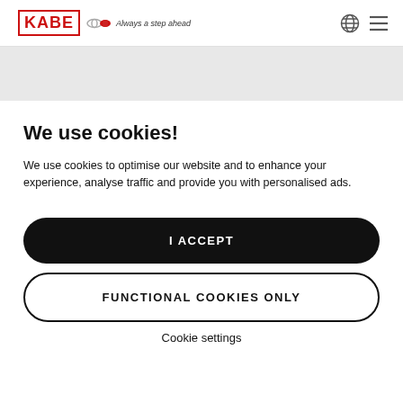KABE Always a step ahead
We use cookies!
We use cookies to optimise our website and to enhance your experience, analyse traffic and provide you with personalised ads.
I ACCEPT
FUNCTIONAL COOKIES ONLY
Cookie settings